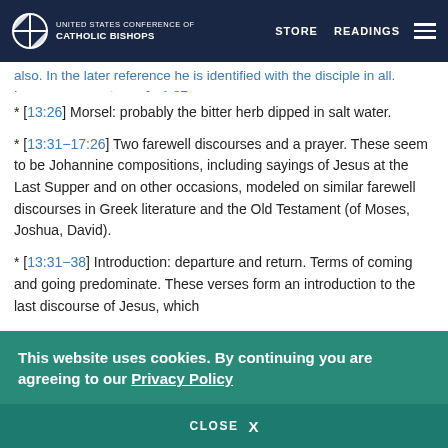UNITED STATES CONFERENCE OF CATHOLIC BISHOPS | STORE | READINGS
also. In the later reference he is identified with the disciple in all. Lazarus; see note on Jn 1:37.
* [13:26] Morsel: probably the bitter herb dipped in salt water.
* [13:31–17:26] Two farewell discourses and a prayer. These seem to be Johannine compositions, including sayings of Jesus at the Last Supper and on other occasions, modeled on similar farewell discourses in Greek literature and the Old Testament (of Moses, Joshua, David).
* [13:31–38] Introduction: departure and return. Terms of coming and going predominate. These verses form an introduction to the last discourse of Jesus, which
This website uses cookies. By continuing you are agreeing to our Privacy Policy
CLOSE X